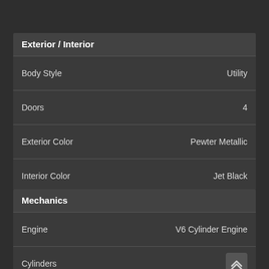Exterior / Interior
| Field | Value |
| --- | --- |
| Body Style | Utility |
| Doors | 4 |
| Exterior Color | Pewter Metallic |
| Interior Color | Jet Black |
| Interior Material | LEATHER |
Mechanics
| Field | Value |
| --- | --- |
| Engine | V6 Cylinder Engine |
| Cylinders |  |